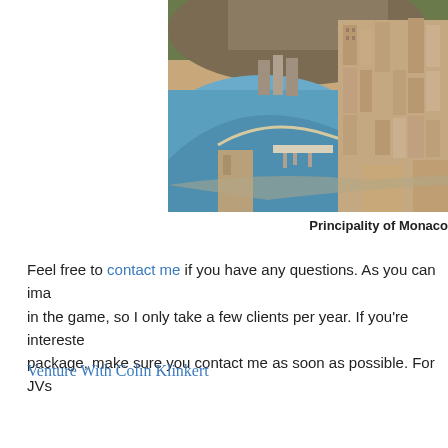[Figure (photo): Aerial photograph of the Principality of Monaco showing the harbor, buildings, and coastline from above]
Principality of Monaco
Feel free to contact me if you have any questions. As you can imagine, I only have so many hours in the game, so I only take a few clients per year. If you're interested in the consulting package, make sure you contact me as soon as possible. For JVs
Venture With Colin Klinkert